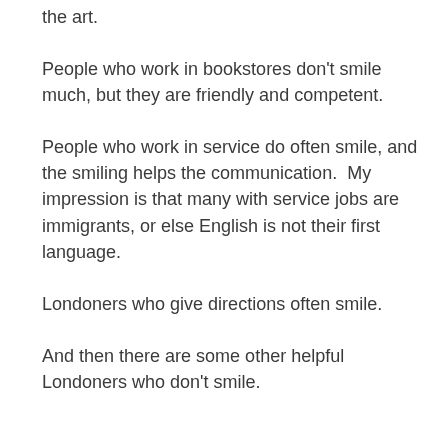the art.
People who work in bookstores don't smile much, but they are friendly and competent.
People who work in service do often smile, and the smiling helps the communication.  My impression is that many with service jobs are immigrants, or else English is not their first language.
Londoners who give directions often smile.
And then there are some other helpful Londoners who don't smile.